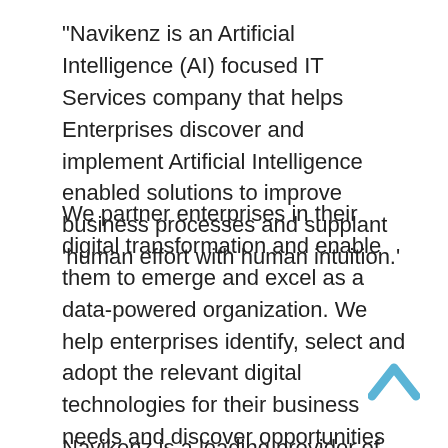“Navikenz is an Artificial Intelligence (AI) focused IT Services company that helps Enterprises discover and implement Artificial Intelligence enabled solutions to improve business processes and supplant ‘human effort with human intuition.’
We partner enterprises in their digital transformation and enable them to emerge and excel as a data-powered organization. We help enterprises identify, select and adopt the relevant digital technologies for their business needs and discover opportunities for right application of Artificial Intelligence capabilities. We do this by bringing the people, processes and organizational culture together for a purposeful and effective adoption of emerging technologies across the organization.
Navikenz...